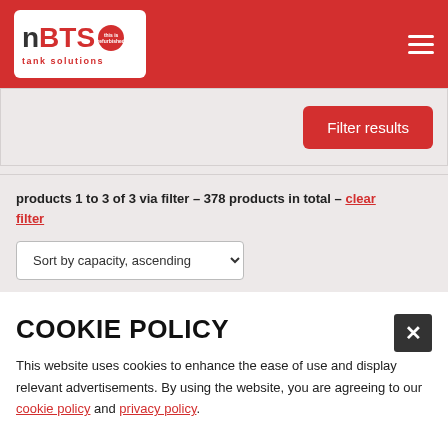[Figure (logo): BTS Tank Solutions logo - white background with red BTS text and tank solutions subtitle, red circular badge]
Filter results
products 1 to 3 of 3 via filter – 378 products in total – clear filter
Sort by capacity, ascending
COOKIE POLICY
This website uses cookies to enhance the ease of use and display relevant advertisements. By using the website, you are agreeing to our cookie policy and privacy policy.